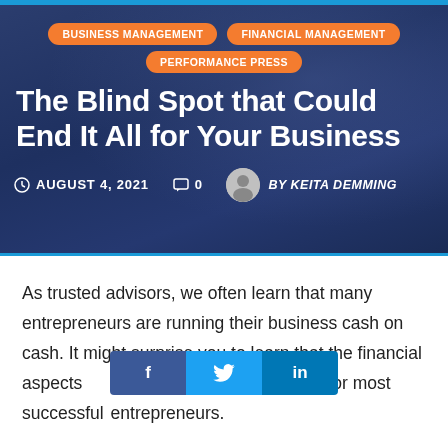[Figure (photo): Hero image of a man in a blue shirt with hand on head, overlaid with dark blue tint. Contains category tag pills, article title, and meta information.]
The Blind Spot that Could End It All for Your Business
AUGUST 4, 2021   0   BY KEITA DEMMING
As trusted advisors, we often learn that many entrepreneurs are running their business cash on cash. It might surprise you to learn that the financial aspects are often in shambles for most successful entrepreneurs.